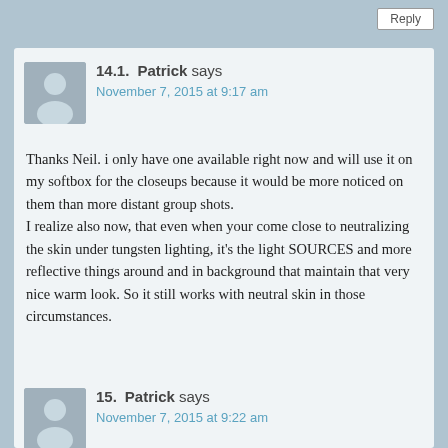Reply
14.1.  Patrick says
November 7, 2015 at 9:17 am
Thanks Neil. i only have one available right now and will use it on my softbox for the closeups because it would be more noticed on them than more distant group shots.
I realize also now, that even when your come close to neutralizing the skin under tungsten lighting, it’s the light SOURCES and more reflective things around and in background that maintain that very nice warm look. So it still works with neutral skin in those circumstances.
Reply
15.  Patrick says
November 7, 2015 at 9:22 am